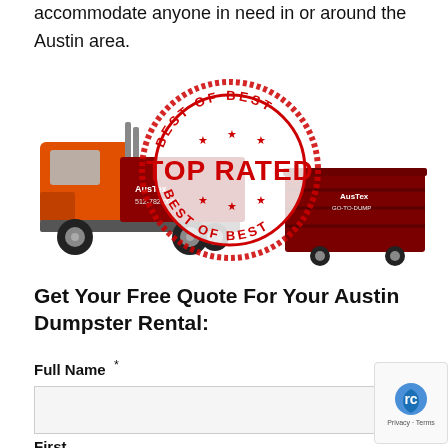accommodate anyone in need in or around the Austin area.
[Figure (photo): Orange AusTex dump truck on the left and a dark red AusTex dumpster container on the right, with a large red circular 'Best of Best – TOP RATED – Best of Best' stamp overlaid in the center.]
Get Your Free Quote For Your Austin Dumpster Rental:
Full Name *
First